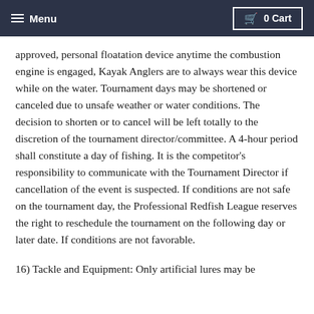Menu | 0 Cart
approved, personal floatation device anytime the combustion engine is engaged, Kayak Anglers are to always wear this device while on the water. Tournament days may be shortened or canceled due to unsafe weather or water conditions. The decision to shorten or to cancel will be left totally to the discretion of the tournament director/committee. A 4-hour period shall constitute a day of fishing. It is the competitor's responsibility to communicate with the Tournament Director if cancellation of the event is suspected. If conditions are not safe on the tournament day, the Professional Redfish League reserves the right to reschedule the tournament on the following day or later date. If conditions are not favorable.
16) Tackle and Equipment: Only artificial lures may be